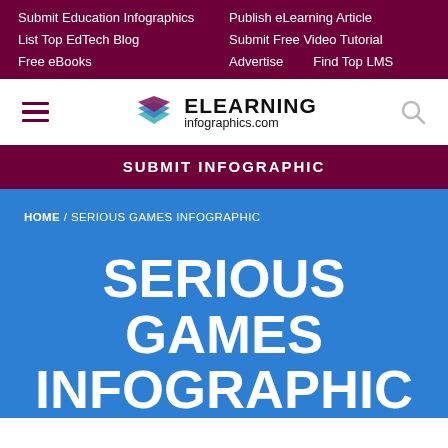Submit Education Infographics | Publish eLearning Article | List Top EdTech Blog | Submit Free Video Tutorial | Free eBooks | Advertise | Find Top LMS
[Figure (logo): eLearning Infographics logo with stacked colored diamond shapes and hamburger menu and search icon]
SUBMIT INFOGRAPHIC
HOME / SERIOUS GAMES INFOGRAPHIC
SERIOUS GAMES INFOGRAPHIC